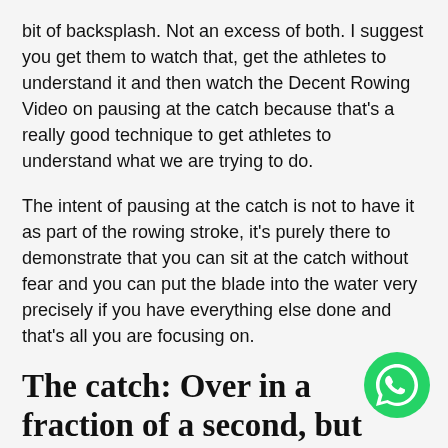bit of backsplash. Not an excess of both. I suggest you get them to watch that, get the athletes to understand it and then watch the Decent Rowing Video on pausing at the catch because that's a really good technique to get athletes to understand what we are trying to do.
The intent of pausing at the catch is not to have it as part of the rowing stroke, it's purely there to demonstrate that you can sit at the catch without fear and you can put the blade into the water very precisely if you have everything else done and that's all you are focusing on.
The catch: Over in a fraction of a second, but vital to having a good rowing stroke.
https://www.youtube.com/watch?v=fjGyjtyujLU